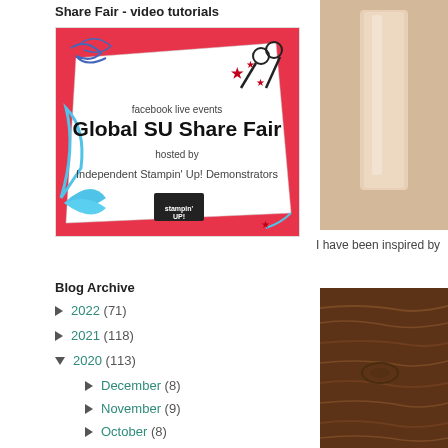Share Fair - video tutorials
[Figure (illustration): Global SU Share Fair banner - facebook live events, hosted by Independent Stampin' Up! Demonstrators, red and white background with scissors, stars, ribbon decorations and Stampin' Up! logo]
Blog Archive
► 2022 (71)
► 2021 (118)
▼ 2020 (113)
► December (8)
► November (9)
► October (8)
[Figure (photo): Partial photo of a candle or light-colored cylindrical object on right side]
I have been inspired by
[Figure (photo): Partial photo of dark brown wood texture at bottom right]